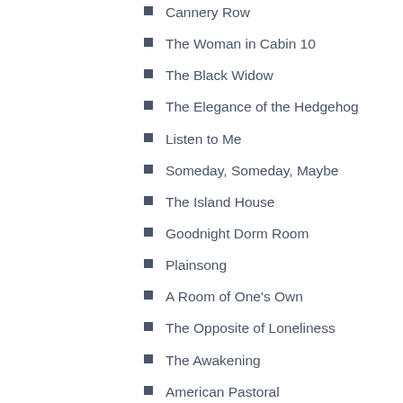Cannery Row
The Woman in Cabin 10
The Black Widow
The Elegance of the Hedgehog
Listen to Me
Someday, Someday, Maybe
The Island House
Goodnight Dorm Room
Plainsong
A Room of One's Own
The Opposite of Loneliness
The Awakening
American Pastoral
Sir Gawain and the Green Knight
Giovanni's Room
French Grammar